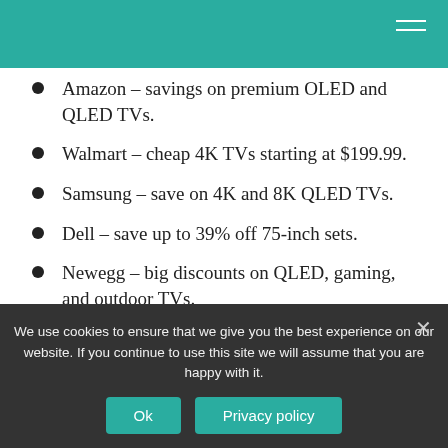Amazon – savings on premium OLED and QLED TVs.
Walmart – cheap 4K TVs starting at $199.99.
Samsung – save on 4K and 8K QLED TVs.
Dell – save up to 39% off 75-inch sets.
Newegg – big discounts on QLED, gaming, and outdoor TVs.
Is it better to buy a TV on Black Friday or after Christmas?
We use cookies to ensure that we give you the best experience on our website. If you continue to use this site we will assume that you are happy with it.